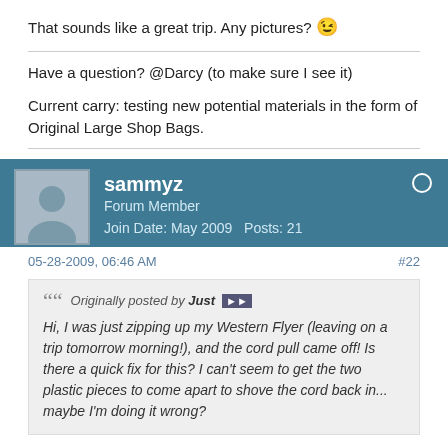That sounds like a great trip. Any pictures? 😉
Have a question? @Darcy (to make sure I see it)
Current carry: testing new potential materials in the form of Original Large Shop Bags.
sammyz
Forum Member
Join Date: May 2009   Posts: 21
05-28-2009, 06:46 AM
#22
Originally posted by Just
Hi, I was just zipping up my Western Flyer (leaving on a trip tomorrow morning!), and the cord pull came off! Is there a quick fix for this? I can't seem to get the two plastic pieces to come apart to shove the cord back in... maybe I'm doing it wrong?